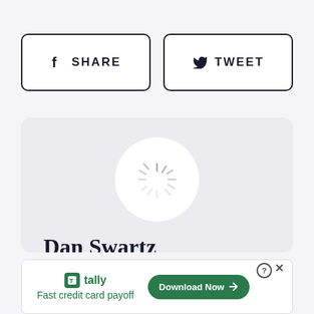[Figure (other): Share button with Facebook f icon and label SHARE]
[Figure (other): Tweet button with Twitter bird icon and label TWEET]
[Figure (other): Author card with loading spinner avatar, name Dan Swartz, and email icon]
Dan Swartz
[Figure (other): Advertisement banner: Tally - Fast credit card payoff, Download Now button]